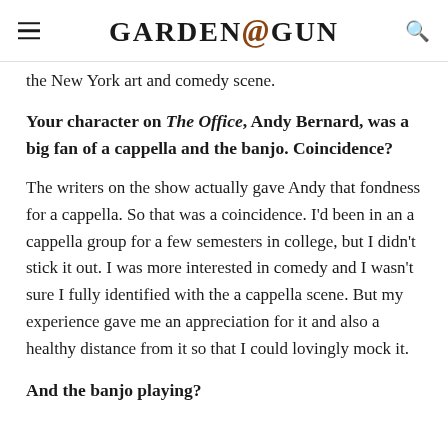GARDEN&GUN
the New York art and comedy scene.
Your character on The Office, Andy Bernard, was a big fan of a cappella and the banjo. Coincidence?
The writers on the show actually gave Andy that fondness for a cappella. So that was a coincidence. I'd been in an a cappella group for a few semesters in college, but I didn't stick it out. I was more interested in comedy and I wasn't sure I fully identified with the a cappella scene. But my experience gave me an appreciation for it and also a healthy distance from it so that I could lovingly mock it.
And the banjo playing?